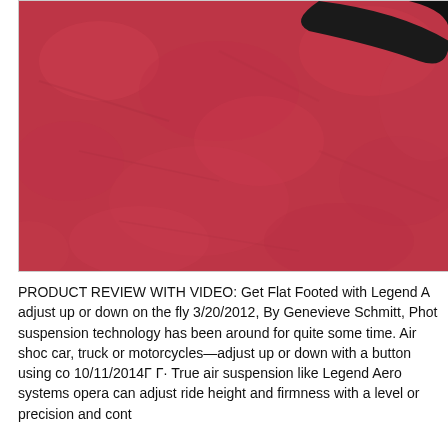[Figure (photo): Close-up photograph of a red textured surface (possibly a motorcycle seat or fabric) with a dark curved element visible at the top right corner.]
PRODUCT REVIEW WITH VIDEO: Get Flat Footed with Legend A adjust up or down on the fly 3/20/2012, By Genevieve Schmitt, Phot suspension technology has been around for quite some time. Air shoc car, truck or motorcyclesвЂ"adjust up or down with a button using co 10/11/2014В В· True air suspension like Legend Aero systems opera can adjust ride height and firmness with a level or precision and cont